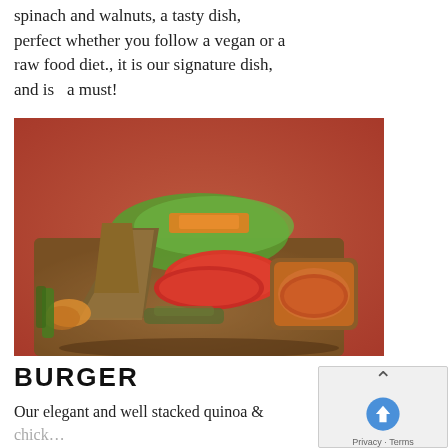spinach and walnuts, a tasty dish, perfect whether you follow a vegan or a raw food diet., it is our signature dish, and is  a must!
[Figure (photo): A vegan raw food burger made with grain crackers, lettuce, tomato slices, shredded carrots, and sprouts, served on a wooden board with a small wooden bowl of orange dipping sauce, on a red floral tablecloth.]
BURGER
Our elegant and well stacked quinoa & … is filled with a mix of food…